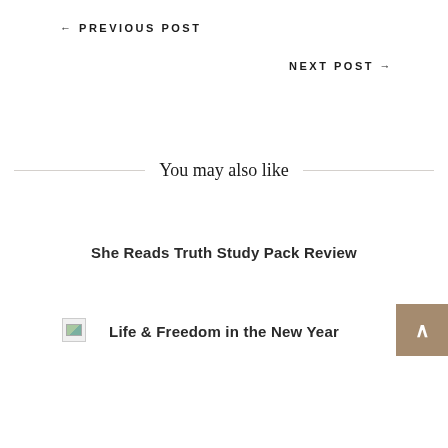← PREVIOUS POST
NEXT POST →
You may also like
She Reads Truth Study Pack Review
[Figure (photo): Broken/missing image thumbnail]
Life & Freedom in the New Year